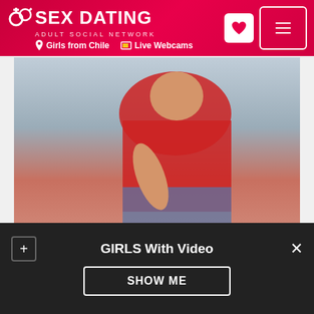SEX DATING ADULT SOCIAL NETWORK | Girls from Chile | Live Webcams
[Figure (photo): Main profile photo showing a person in a red top]
[Figure (photo): Row of 5 thumbnail preview images]
You need to register to watch the video!
GIRLS With Video
SHOW ME